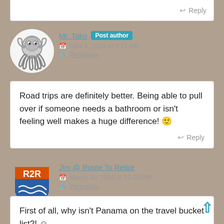Reply
Mr. Tako  Post author
April 1, 2019 at 9:11 AM
Permalink
Road trips are definitely better. Being able to pull over if someone needs a bathroom or isn't feeling well makes a huge difference! 🙂
Reply
Jim @ Route To Retire
March 30, 2019 at 12:20 PM
Permalink
First of all, why isn't Panama on the travel bucket list?! 🙂